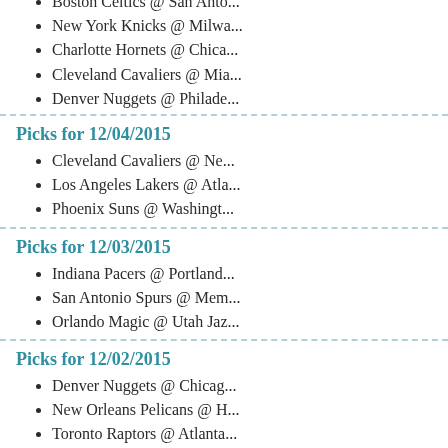Boston Celtics @ San Antonio...
New York Knicks @ Milwa...
Charlotte Hornets @ Chica...
Cleveland Cavaliers @ Mia...
Denver Nuggets @ Philade...
Picks for 12/04/2015
Cleveland Cavaliers @ Ne...
Los Angeles Lakers @ Atla...
Phoenix Suns @ Washingt...
Picks for 12/03/2015
Indiana Pacers @ Portland...
San Antonio Spurs @ Mem...
Orlando Magic @ Utah Jaz...
Picks for 12/02/2015
Denver Nuggets @ Chicag...
New Orleans Pelicans @ H...
Toronto Raptors @ Atlanta...
Phoenix Suns @ Detroit Pi...
Golden State Warriors @ C...
Picks for 12/01/2015
Dallas Mavericks @ Portla...
Orlando Magic @ Minneso...
Phoenix Suns @ Brooklyn...